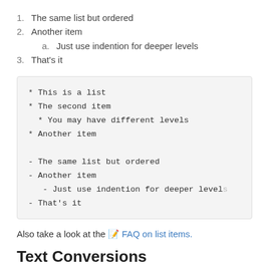1. The same list but ordered
2. Another item
a. Just use indention for deeper levels
3. That's it
* This is a list
* The second item
  * You may have different levels
* Another item

- The same list but ordered
- Another item
   - Just use indention for deeper levels
- That's it
Also take a look at the 📝 FAQ on list items.
Text Conversions